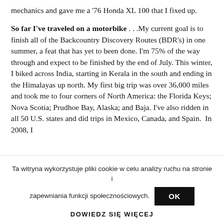mechanics and gave me a '76 Honda XL 100 that I fixed up.
So far I've traveled on a motorbike . . .My current goal is to finish all of the Backcountry Discovery Routes (BDR's) in one summer, a feat that has yet to been done. I'm 75% of the way through and expect to be finished by the end of July. This winter, I biked across India, starting in Kerala in the south and ending in the Himalayas up north. My first big trip was over 36,000 miles and took me to four corners of North America: the Florida Keys; Nova Scotia; Prudhoe Bay, Alaska; and Baja. I've also ridden in all 50 U.S. states and did trips in Mexico, Canada, and Spain. In 2008, I
Ta witryna wykorzystuje pliki cookie w celu analizy ruchu na stronie i zapewniania funkcji społecznościowych.
DOWIEDZ SIĘ WIĘCEJ